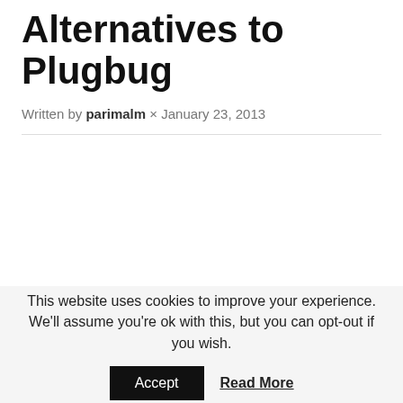Alternatives to Plugbug
Written by parimalm × January 23, 2013
This website uses cookies to improve your experience. We'll assume you're ok with this, but you can opt-out if you wish.
Accept   Read More